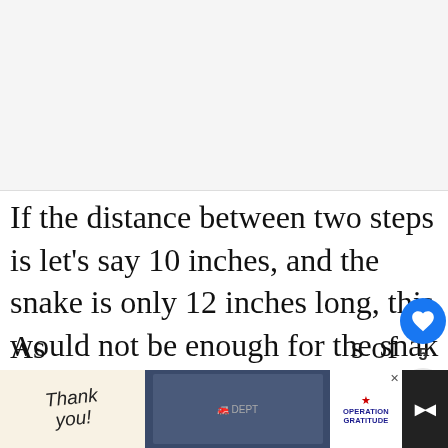[Figure (photo): Gray/white placeholder image area at top of page]
If the distance between two steps is let's say 10 inches, and the snake is only 12 inches long, this would not be enough for the snake to be able to push up and maintain its body on the upper step for it to be able to put of its weight to the higher elevation.
As [text continues] s of
[Figure (screenshot): Advertisement banner at bottom: 'Thank you!' with Operation Gratitude logo and firefighters photo]